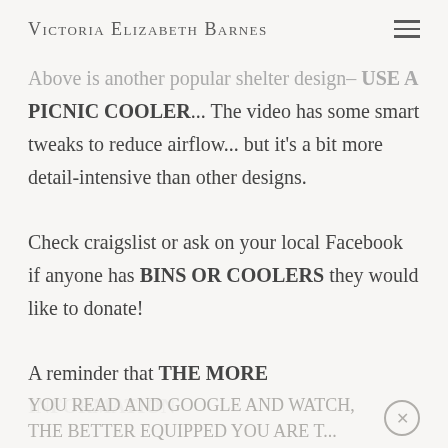Victoria Elizabeth Barnes
Above is another popular shelter design– USE A PICNIC COOLER... The video has some smart tweaks to reduce airflow... but it's a bit more detail-intensive than other designs.
Check craigslist or ask on your local Facebook if anyone has BINS OR COOLERS they would like to donate!
A reminder that THE MORE INFORMATION YOU READ AND GOOGLE AND WATCH, THE BETTER EQUIPPED YOU ARE T...